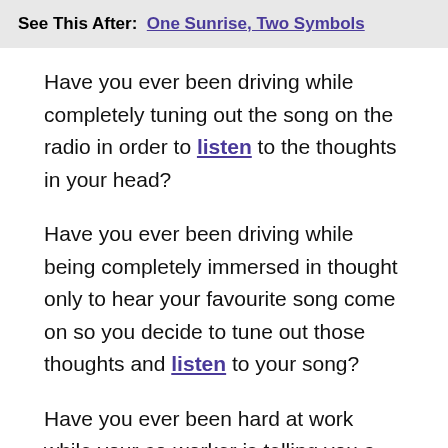See This After: One Sunrise, Two Symbols
Have you ever been driving while completely tuning out the song on the radio in order to listen to the thoughts in your head?
Have you ever been driving while being completely immersed in thought only to hear your favourite song come on so you decide to tune out those thoughts and listen to your song?
Have you ever been hard at work while your co-worker is telling you a story you could give two shits about so you decide not to hear a word they say and